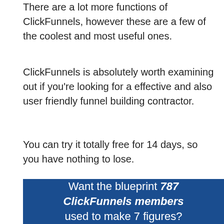There are a lot more functions of ClickFunnels, however these are a few of the coolest and most useful ones.
ClickFunnels is absolutely worth examining out if you're looking for a effective and also user friendly funnel building contractor.
You can try it totally free for 14 days, so you have nothing to lose.
[Figure (infographic): Dark blue banner with white text reading 'Want the blueprint 787 ClickFunnels members used to make 7 figures?']